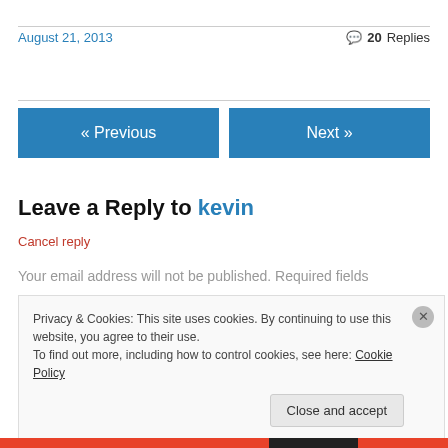August 21, 2013
20 Replies
« Previous
Next »
Leave a Reply to kevin
Cancel reply
Your email address will not be published. Required fields
Privacy & Cookies: This site uses cookies. By continuing to use this website, you agree to their use.
To find out more, including how to control cookies, see here: Cookie Policy
Close and accept